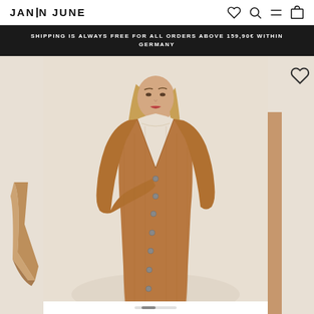JAN N JUNE
SHIPPING IS ALWAYS FREE FOR ALL ORDERS ABOVE 159,90€ WITHIN GERMANY
[Figure (photo): Fashion e-commerce product page showing a woman wearing a camel/tan ribbed knit button-down dress with long sleeves and V-neckline, standing against a beige background. Left side shows partial view of another garment. Right side partially visible with heart wishlist icon.]